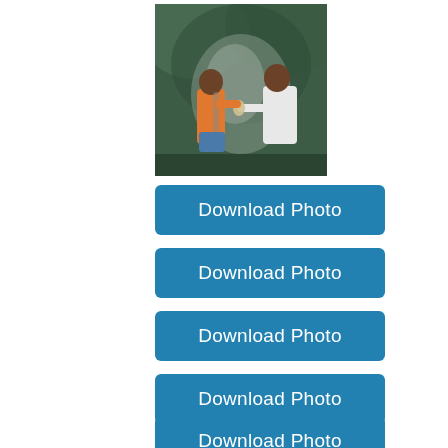[Figure (photo): Two people outdoors, one in an orange shirt and one in white, exchanging or sharing something, with bokeh/misty background of trees]
Download Photo
Download Photo
Download Photo
Download Photo
Download Photo